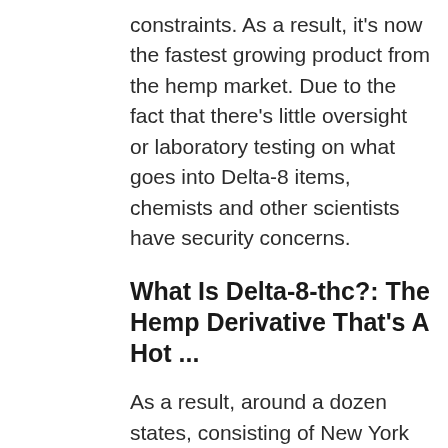constraints. As a result, it's now the fastest growing product from the hemp market. Due to the fact that there's little oversight or laboratory testing on what goes into Delta-8 items, chemists and other scientists have security concerns.
What Is Delta-8-thc?: The Hemp Derivative That's A Hot ...
As a result, around a dozen states, consisting of New York and Colorado, are beginning to restrict or ban making use of Delta-8. Where Can You Get It? You can buy Delta-8 products over the counter at